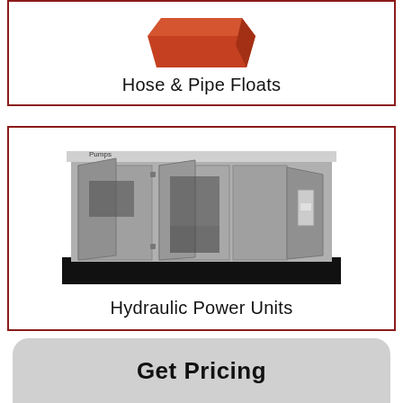[Figure (photo): Orange-red hose and pipe float product, partially visible at top of card]
Hose & Pipe Floats
[Figure (photo): Gray industrial hydraulic power unit cabinet with open doors showing internal components, on black base]
Hydraulic Power Units
Get Pricing